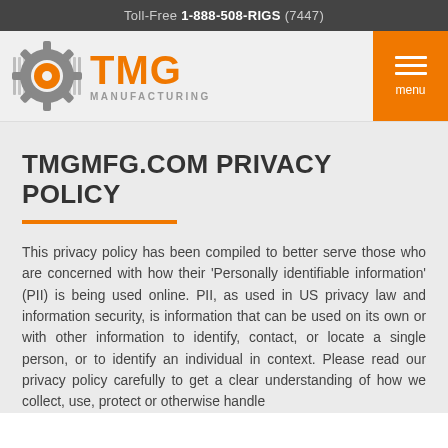Toll-Free 1-888-508-RIGS (7447)
[Figure (logo): TMG Manufacturing logo with gear icon and orange TMG text]
TMGMFG.COM PRIVACY POLICY
This privacy policy has been compiled to better serve those who are concerned with how their 'Personally identifiable information' (PII) is being used online. PII, as used in US privacy law and information security, is information that can be used on its own or with other information to identify, contact, or locate a single person, or to identify an individual in context. Please read our privacy policy carefully to get a clear understanding of how we collect, use, protect or otherwise handle